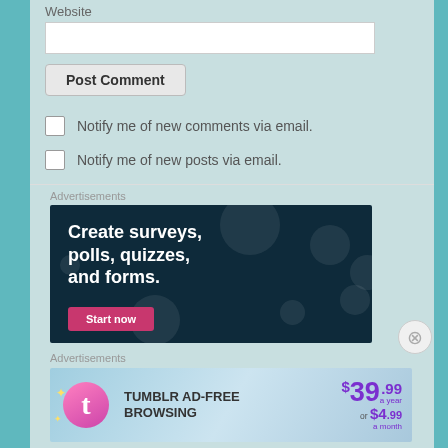Website
Post Comment
Notify me of new comments via email.
Notify me of new posts via email.
Advertisements
[Figure (screenshot): Dark navy advertisement banner: Create surveys, polls, quizzes, and forms. With a pink Start now button.]
Advertisements
[Figure (screenshot): Tumblr Ad-Free Browsing advertisement: $39.99 a year or $4.99 a month, with Tumblr logo.]